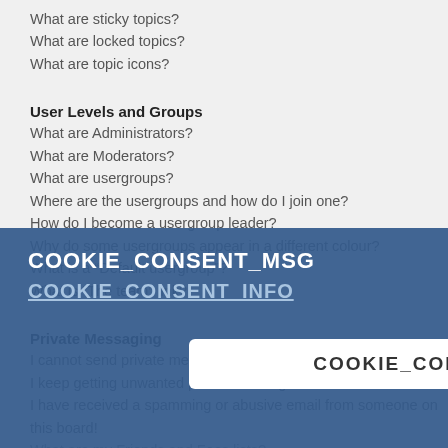What are sticky topics?
What are locked topics?
What are topic icons?
User Levels and Groups
What are Administrators?
What are Moderators?
What are usergroups?
Where are the usergroups and how do I join one?
How do I become a usergroup leader?
Why do some usergroups appear in a different colour?
What is a “Default usergroup”?
What is “The team” link?
Private Messaging
I cannot send private messages!
I keep getting unwanted private messages!
I have received a spamming or abusive email from someone on this board!
What are my Friends and Foes lists?
How can I add / remove users to my Friends or Foes list?
Searching the Forums
How can I search a forum or forums?
Why does my search return no results?
Why does my search return a blank page!?
How do I search for members?
[Figure (other): Cookie consent overlay with COOKIE_CONSENT_MSG text, COOKIE_CONSENT_INFO link, and COOKIE_CONSENT_OK button]